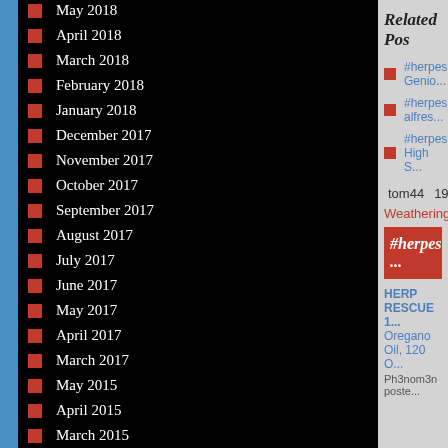May 2018
April 2018
March 2018
February 2018
January 2018
December 2017
November 2017
October 2017
September 2017
August 2017
July 2017
June 2017
May 2017
April 2017
March 2017
May 2015
April 2015
March 2015
February 2015
Related Pos...
#herpes Genio...
#herpes alfres...
#herpes High S...
tom44  19...
Weathering
#herpes ...
HERP RESCUE 1... Oregano Oil, 120 O...
Ph3nom3n posted...